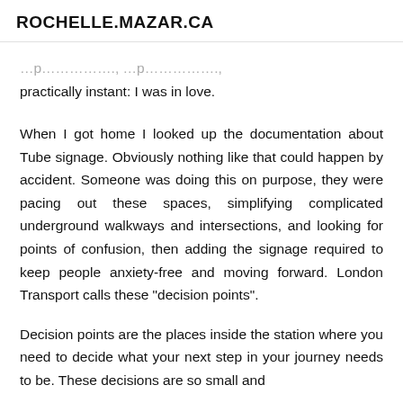ROCHELLE.MAZAR.CA
practically instant: I was in love.
When I got home I looked up the documentation about Tube signage. Obviously nothing like that could happen by accident. Someone was doing this on purpose, they were pacing out these spaces, simplifying complicated underground walkways and intersections, and looking for points of confusion, then adding the signage required to keep people anxiety-free and moving forward. London Transport calls these “decision points”.
Decision points are the places inside the station where you need to decide what your next step in your journey needs to be. These decisions are so small and